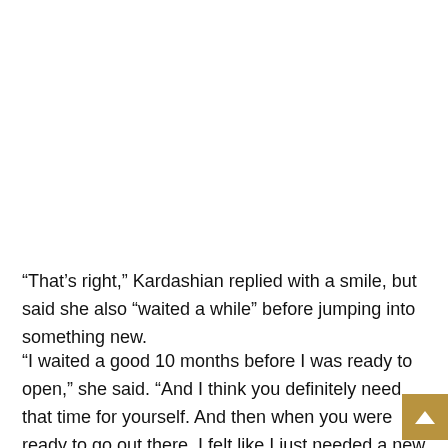“That’s right,” Kardashian replied with a smile, but said she also “waited a while” before jumping into something new.
“I waited a good 10 months before I was ready to open,” she said. “And I think you definitely need that time for yourself. And then when you were ready to go out there, I felt like I just needed a new energy and something else. And it definitely